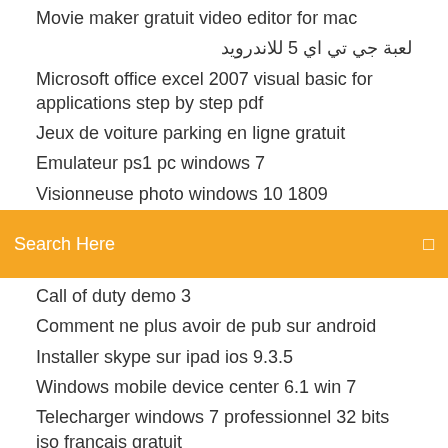Movie maker gratuit video editor for mac
لعبة جي تي اي 5 للاندرويد
Microsoft office excel 2007 visual basic for applications step by step pdf
Jeux de voiture parking en ligne gratuit
Emulateur ps1 pc windows 7
Visionneuse photo windows 10 1809
[Figure (screenshot): Orange/amber search bar with text 'Search Here' and a search icon on the right]
Call of duty demo 3
Comment ne plus avoir de pub sur android
Installer skype sur ipad ios 9.3.5
Windows mobile device center 6.1 win 7
Telecharger windows 7 professionnel 32 bits iso francais gratuit
First touch soccer 15 obb
Comment retrouver des photos effacées sur une carte mémoire
One piece treasure cruise guia personajes